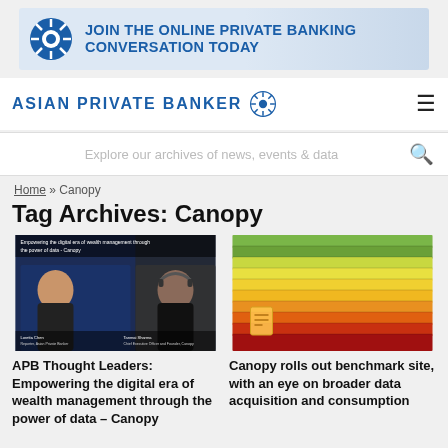[Figure (illustration): Banner advertisement: circular blue sun/flower logo on left, bold blue text reading JOIN THE ONLINE PRIVATE BANKING CONVERSATION TODAY on light blue/white gradient background]
ASIAN PRIVATE BANKER
Explore our archives of news, events & data
Home » Canopy
Tag Archives: Canopy
[Figure (screenshot): Video thumbnail showing two people in an online meeting: a woman on the left and a man wearing headphones on the right, with text overlay 'Empowering the digital era of wealth management through the power of data - Canopy'. Labels show Loretta Chan, Reporter, Asian Private Banker and Tanmai Sharma, Chief Executive Officer and Founder, Canopy]
[Figure (photo): Photo of colorful file folders/document organizers stacked horizontally in rows, showing green, yellow, orange and red colors, with a small document icon overlay]
APB Thought Leaders: Empowering the digital era of wealth management through the power of data – Canopy
Canopy rolls out benchmark site, with an eye on broader data acquisition and consumption